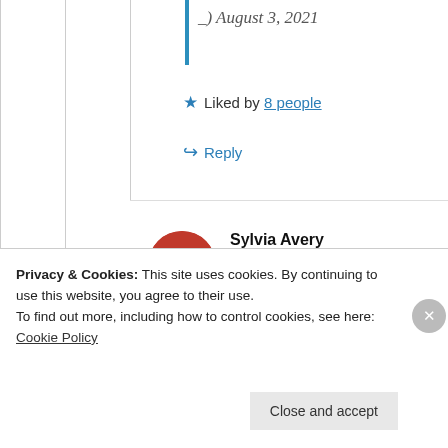) August 3, 2021
★ Liked by 8 people
↪ Reply
Sylvia Avery
08/04/2021 @ 00:44 at 00:44
Privacy & Cookies: This site uses cookies. By continuing to use this website, you agree to their use. To find out more, including how to control cookies, see here: Cookie Policy
Close and accept